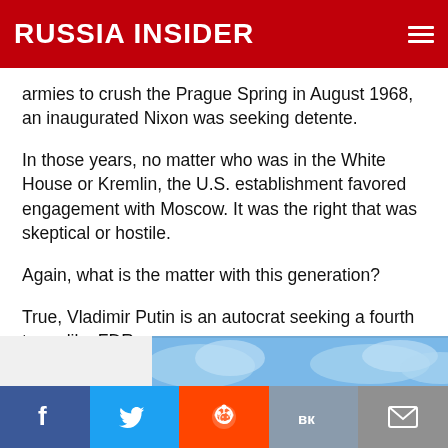RUSSIA INSIDER
armies to crush the Prague Spring in August 1968, an inaugurated Nixon was seeking detente.
In those years, no matter who was in the White House or Kremlin, the U.S. establishment favored engagement with Moscow. It was the right that was skeptical or hostile.
Again, what is the matter with this generation?
True, Vladimir Putin is an autocrat seeking a fourth term, like FDR.
[Figure (illustration): Partial view of a blue-sky image strip at the bottom of the article content area]
Facebook | Twitter | Reddit | VK | Email social sharing bar